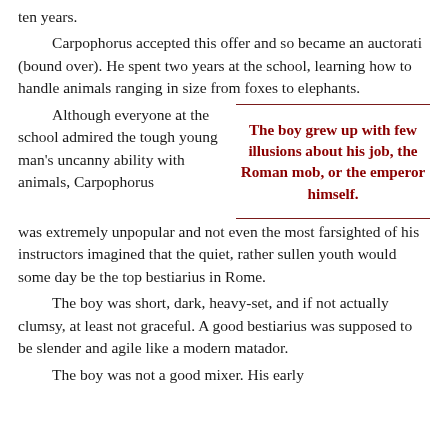ten years.
Carpophorus accepted this offer and so became an auctorati (bound over). He spent two years at the school, learning how to handle animals ranging in size from foxes to elephants.
Although everyone at the school admired the tough young man's uncanny ability with animals, Carpophorus was extremely unpopular and not even the most farsighted of his instructors imagined that the quiet, rather sullen youth would some day be the top bestiarius in Rome.
The boy grew up with few illusions about his job, the Roman mob, or the emperor himself.
The boy was short, dark, heavy-set, and if not actually clumsy, at least not graceful. A good bestiarius was supposed to be slender and agile like a modern matador.
The boy was not a good mixer. His early life had not been conducive to trust of any